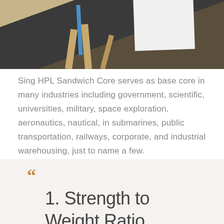[Figure (photo): Photograph of a white panel or board on a wooden easel/stand in a workshop or studio setting, with dark floor and wooden structural elements visible]
Sing HPL Sandwich Core serves as base core in many industries including government, scientific, universities, military, space exploration, aeronautics, nautical, in submarines, public transportation, railways, corporate, and industrial warehousing, just to name a few.
1. Strength to Weight Ratio